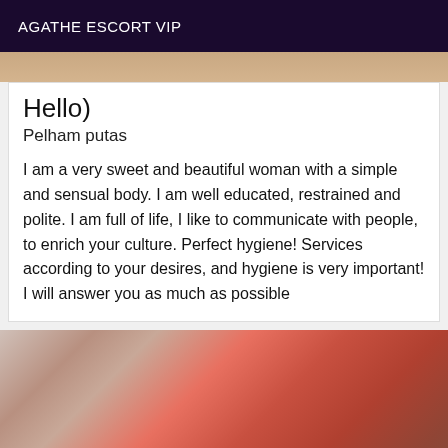AGATHE ESCORT VIP
[Figure (photo): Partial photo of a person at the top of the card, cropped at top]
Hello)
Pelham putas
I am a very sweet and beautiful woman with a simple and sensual body. I am well educated, restrained and polite. I am full of life, I like to communicate with people, to enrich your culture. Perfect hygiene! Services according to your desires, and hygiene is very important! I will answer you as much as possible
[Figure (photo): Woman in red dress taking a mirror selfie with a phone, inside a room]